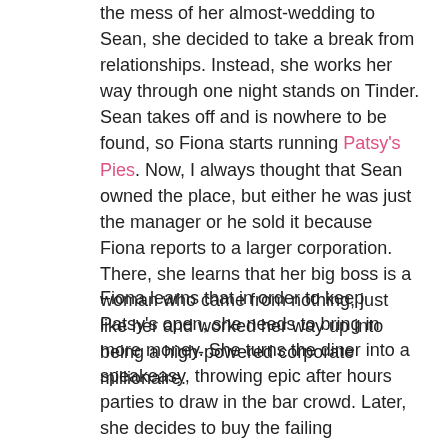the mess of her almost-wedding to Sean, she decided to take a break from relationships. Instead, she works her way through one night stands on Tinder. Sean takes off and is nowhere to be found, so Fiona starts running Patsy's Pies. Now, I always thought that Sean owned the place, but either he was just the manager or he sold it because Fiona reports to a larger corporation. There, she learns that her big boss is a woman who came from nothing, just like her and worked her way up into being a high-powered corporate millionaire.
Fiona learns that in order to keep Patsy's open, she needs to bring in more money. She turns the diner into a speakeasy, throwing epic after hours parties to draw in the bar crowd. Later, she decides to buy the failing laundromat across the street and turn it into something a little hipper. She promises the elderly woman living there that she can stay in her apartment. After buying the place, Fiona learns that